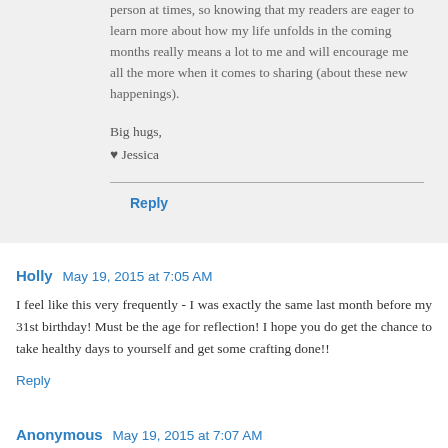person at times, so knowing that my readers are eager to learn more about how my life unfolds in the coming months really means a lot to me and will encourage me all the more when it comes to sharing (about these new happenings).
Big hugs,
♥ Jessica
Reply
Holly  May 19, 2015 at 7:05 AM
I feel like this very frequently - I was exactly the same last month before my 31st birthday! Must be the age for reflection! I hope you do get the chance to take healthy days to yourself and get some crafting done!!
Reply
Anonymous  May 19, 2015 at 7:07 AM